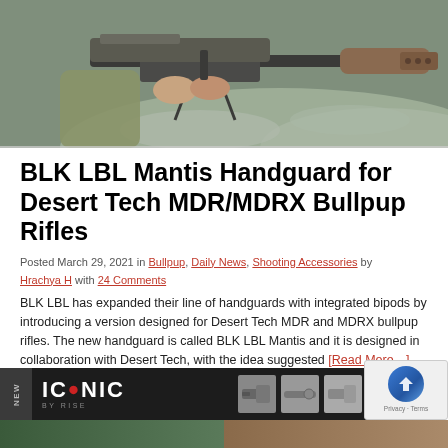[Figure (photo): Person holding a Desert Tech MDR/MDRX bullpup rifle with suppressor outdoors in a snowy/rocky environment]
BLK LBL Mantis Handguard for Desert Tech MDR/MDRX Bullpup Rifles
Posted March 29, 2021 in Bullpup, Daily News, Shooting Accessories by Hrachya H with 24 Comments
BLK LBL has expanded their line of handguards with integrated bipods by introducing a version designed for Desert Tech MDR and MDRX bullpup rifles. The new handguard is called BLK LBL Mantis and it is designed in collaboration with Desert Tech, with the idea suggested [Read More…]
[Figure (advertisement): ICONIC by RISE advertisement banner with black background and firearm accessory images]